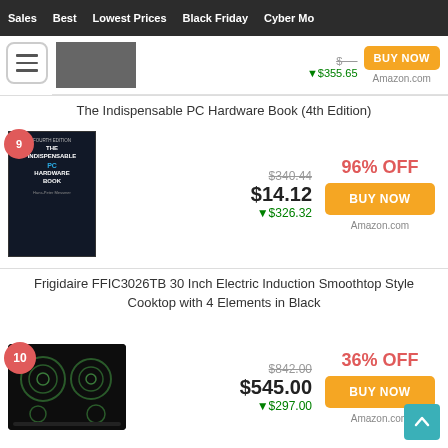Sales  Best  Lowest Prices  Black Friday  Cyber Mo
▼$355.65  Amazon.com
The Indispensable PC Hardware Book (4th Edition)
9  $340.44  96% OFF  $14.12  ▼$326.32  BUY NOW  Amazon.com
Frigidaire FFIC3026TB 30 Inch Electric Induction Smoothtop Style Cooktop with 4 Elements in Black
10  $842.00  36% OFF  $545.00  ▼$297.00  BUY NOW  Amazon.com